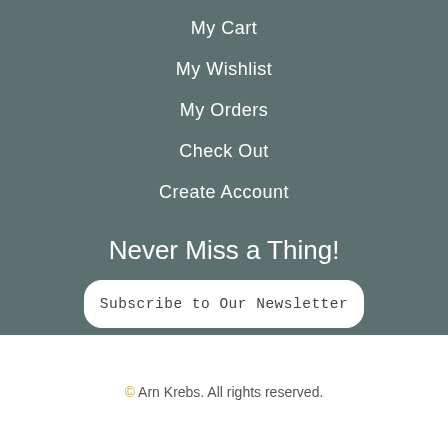My Cart
My Wishlist
My Orders
Check Out
Create Account
Never Miss a Thing!
Subscribe to Our Newsletter
© Arn Krebs. All rights reserved.